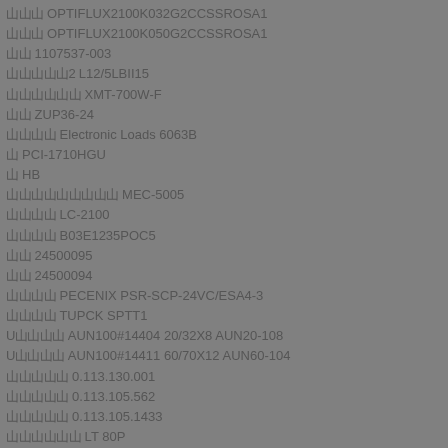OPTIFLUX2100K032G2CCSSROSA1
OPTIFLUX2100K050G2CCSSROSA1
1107537-003
L12/5LBII15
XMT-700W-F
ZUP36-24
Electronic Loads 6063B
PCI-1710HGU
HB
MEC-5005
LC-2100
B03E1235POC5
24500095
24500094
PECENIX PSR-SCP-24VC/ESA4-3
TUPCK SPTT1
U AUN100#14404 20/32X8 AUN20-108
U AUN100#14411 60/70X12 AUN60-104
0.113.130.001
0.113.105.562
0.113.105.1433
LT 80P